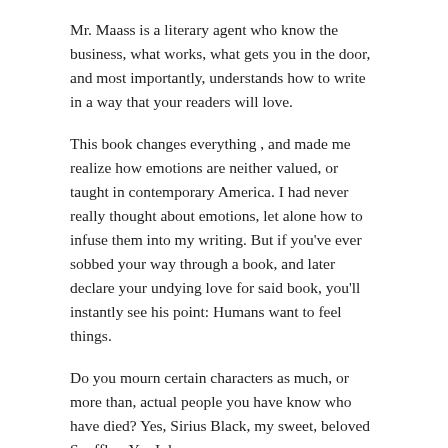Mr. Maass is a literary agent who know the business, what works, what gets you in the door, and most importantly, understands how to write in a way that your readers will love.
This book changes everything , and made me realize how emotions are neither valued, or taught in contemporary America. I had never really thought about emotions, let alone how to infuse them into my writing. But if you've ever sobbed your way through a book, and later declare your undying love for said book, you'll instantly see his point: Humans want to feel things.
Do you mourn certain characters as much, or more than, actual people you have know who have died? Yes, Sirius Black, my sweet, beloved Snuffles, Yes I do.
Does the unfairness of Cinderella being locked in her room when they bring *her* slipper to ***her*** freaking house